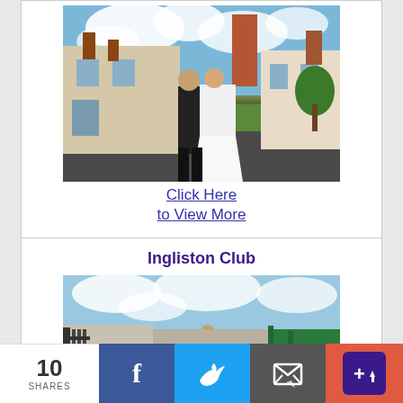[Figure (photo): Wedding couple standing in front of a large country house or manor. Groom in dark suit, bride in white ballgown dress. Blue sky with white clouds in background, green lawns and red brick chimney visible.]
Click Here to View More
Ingliston Club
[Figure (photo): Outdoor venue photo showing a building with iron fence gates under a blue cloudy sky. A person is visible in the distance.]
10 SHARES
[Figure (infographic): Social sharing bar with Facebook, Twitter, email, and +share buttons]